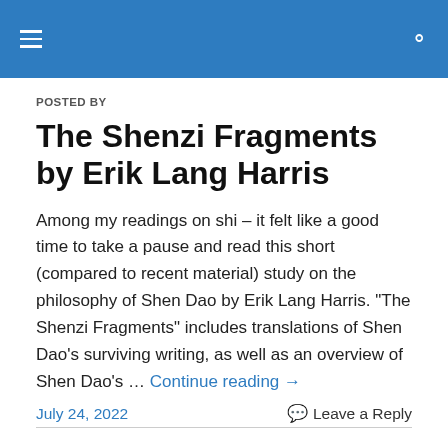≡  🔍
POSTED BY
The Shenzi Fragments by Erik Lang Harris
Among my readings on shi – it felt like a good time to take a pause and read this short (compared to recent material) study on the philosophy of Shen Dao by Erik Lang Harris. "The Shenzi Fragments" includes translations of Shen Dao's surviving writing, as well as an overview of Shen Dao's … Continue reading →
July 24, 2022
Leave a Reply